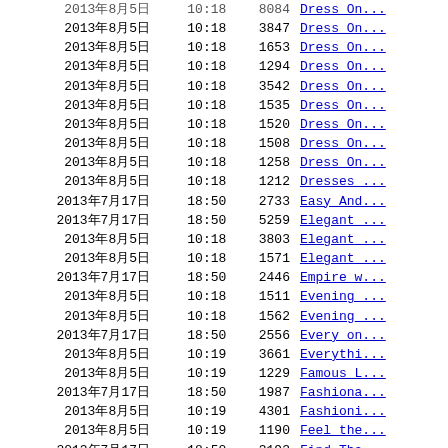| Date | Time | Views | Title |
| --- | --- | --- | --- |
| 2013年8月5日 | 10:18 | 8084 | Dress On... |
| 2013年8月5日 | 10:18 | 3847 | Dress On... |
| 2013年8月5日 | 10:18 | 1653 | Dress On... |
| 2013年8月5日 | 10:18 | 1294 | Dress On... |
| 2013年8月5日 | 10:18 | 3542 | Dress On... |
| 2013年8月5日 | 10:18 | 1535 | Dress On... |
| 2013年8月5日 | 10:18 | 1520 | Dress On... |
| 2013年8月5日 | 10:18 | 1508 | Dress On... |
| 2013年8月5日 | 10:18 | 1258 | Dress On... |
| 2013年8月5日 | 10:18 | 1212 | Dresses ... |
| 2013年7月17日 | 18:50 | 2733 | Easy_And... |
| 2013年7月17日 | 18:50 | 5259 | Elegant_... |
| 2013年8月5日 | 10:18 | 3803 | Elegant_... |
| 2013年8月5日 | 10:18 | 1571 | Elegant_... |
| 2013年7月17日 | 18:50 | 2446 | Empire_w... |
| 2013年8月5日 | 10:18 | 1511 | Evening_... |
| 2013年8月5日 | 10:18 | 1562 | Evening_... |
| 2013年7月17日 | 18:50 | 2556 | Every_on... |
| 2013年8月5日 | 10:19 | 3661 | Everythi... |
| 2013年8月5日 | 10:19 | 1229 | Famous_L... |
| 2013年7月17日 | 18:50 | 1987 | Fashiona... |
| 2013年8月5日 | 10:19 | 4301 | Fashioni... |
| 2013年8月5日 | 10:19 | 1190 | Feel_the... |
| 2013年7月17日 | 18:50 | 3193 | Find_Tha... |
| 2013年7月17日 | 18:50 | 2029 | Find_The... |
| 2013年7月17日 | 18:50 | 2852 | Finding_... |
| 2013年7月17日 | 18:50 | 2369 | Finding_... |
| 2013年7月17日 | 18:50 | 2234 | Finding_... |
| 2013年7月17日 | 18:50 | 2251 | Finding_... |
| 2013年7月17日 | 18:50 | 5300 | Flatterin... |
| 2013年8月5日 | 10:19 | 5594 | Flirty... |